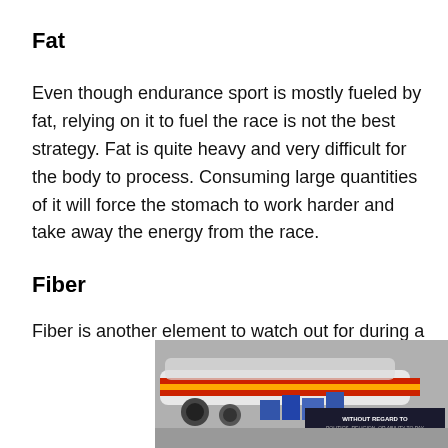Fat
Even though endurance sport is mostly fueled by fat, relying on it to fuel the race is not the best strategy. Fat is quite heavy and very difficult for the body to process. Consuming large quantities of it will force the stomach to work harder and take away the energy from the race.
Fiber
Fiber is another element to watch out for during a competition.
In training it’s very healthy. Foods rich in fiber
[Figure (photo): Advertisement banner showing cargo aircraft being loaded, with a dark badge reading 'WITHOUT REGARD TO POLITICS, RELIGION, OR ABILITY TO PAY']